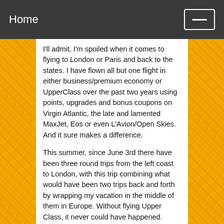Home
I'll admit, I'm spoiled when it comes to flying to London or Paris and back to the states. I have flown all but one flight in either business/premium economy or UpperClass over the past two years using points, upgrades and bonus coupons on Virgin Atlantic, the late and lamented MaxJet, Eos or even L'Avion/Open Skies. And it sure makes a difference.
This summer, since June 3rd there have been three round trips from the left coast to London, with this trip combining what would have been two trips back and forth by wrapping my vacation in the middle of them in Europe. Without flying Upper Class, it never could have happened.
As a road warrior I know what I can do to stretch/stress my body (and my mind) and be able to get off a plane and go right in to "work" mode. Coach may be good for holiday travel, and I flew mostly coach around Europe this trip including flights back and forth to Barcelona, then Club Europe, which is more like Economy plus to